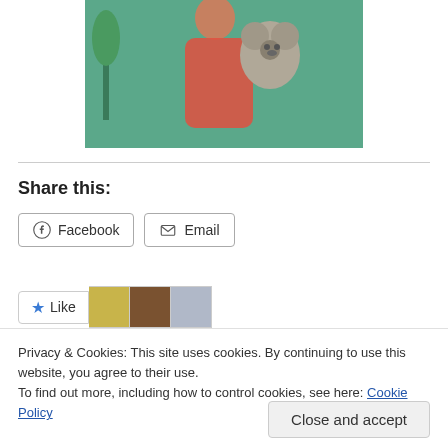[Figure (photo): A woman in a red and white patterned dress holding a koala bear, with a teal/green background with plants.]
Share this:
Facebook
Email
Like
Privacy & Cookies: This site uses cookies. By continuing to use this website, you agree to their use.
To find out more, including how to control cookies, see here: Cookie Policy
Close and accept